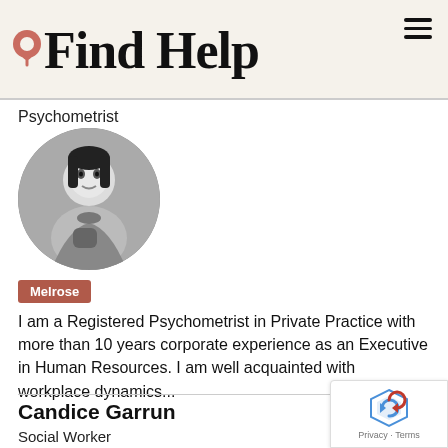Find Help
Psychometrist
[Figure (photo): Circular profile photo of a woman in black and white, looking at the camera with styled hair and accessories.]
Melrose
I am a Registered Psychometrist in Private Practice with more than 10 years corporate experience as an Executive in Human Resources. I am well acquainted with workplace dynamics...
Candice Garrun
Social Worker